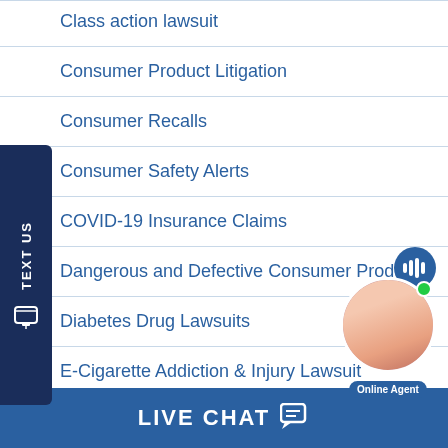Class action lawsuit
Consumer Product Litigation
Consumer Recalls
Consumer Safety Alerts
COVID-19 Insurance Claims
Dangerous and Defective Consumer Products
Diabetes Drug Lawsuits
E-Cigarette Addiction & Injury Lawsuit
[Figure (other): TEXT US sidebar button with phone icon on dark navy background, rotated vertically on left side of page]
[Figure (other): Online Agent chat bubble with female agent photo and green online indicator dot]
LIVE CHAT